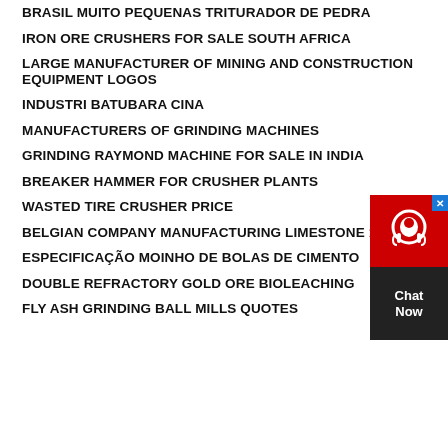BRASIL MUITO PEQUENAS TRITURADOR DE PEDRA
IRON ORE CRUSHERS FOR SALE SOUTH AFRICA
LARGE MANUFACTURER OF MINING AND CONSTRUCTION EQUIPMENT LOGOS
INDUSTRI BATUBARA CINA
MANUFACTURERS OF GRINDING MACHINES
GRINDING RAYMOND MACHINE FOR SALE IN INDIA
BREAKER HAMMER FOR CRUSHER PLANTS
WASTED TIRE CRUSHER PRICE
BELGIAN COMPANY MANUFACTURING LIMESTONE 16932
ESPECIFICAÇÃO MOINHO DE BOLAS DE CIMENTO
DOUBLE REFRACTORY GOLD ORE BIOLEACHING
FLY ASH GRINDING BALL MILLS QUOTES
[Figure (other): Live chat widget with red background showing headset icon and 'Chat Now' text on dark background with blue close button]